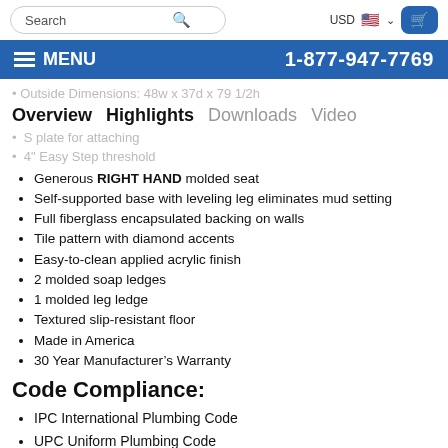Search | USD | Cart
MENU | 1-877-947-7769
Outside Dimensions: 48w x 37d x 79 1/2h
S plate for attaching
4" Easy Step threshold
Overview  Highlights  Downloads  Video
Generous RIGHT HAND molded seat
Self-supported base with leveling leg eliminates mud setting
Full fiberglass encapsulated backing on walls
Tile pattern with diamond accents
Easy-to-clean applied acrylic finish
2 molded soap ledges
1 molded leg ledge
Textured slip-resistant floor
Made in America
30 Year Manufacturer’s Warranty
Code Compliance:
IPC International Plumbing Code
UPC Uniform Plumbing Code
ANSI Z124.2 Standards for Plastic Showers
Complies With CSA Standards
Installation Ad...